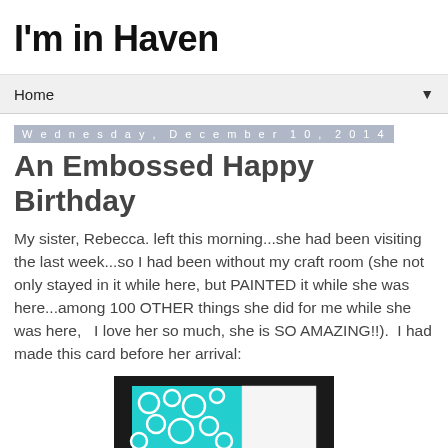I'm in Haven
Home
Wednesday, December 10, 2014
An Embossed Happy Birthday
My sister, Rebecca. left this morning...she had been visiting the last week...so I had been without my craft room (she not only stayed in it while here, but PAINTED it while she was here...among 100 OTHER things she did for me while she was here,   I love her so much, she is SO AMAZING!!).  I had made this card before her arrival:
[Figure (photo): A handmade birthday card photo with teal circle pattern paper on a dark background, with a white panel and purple strip accent.]